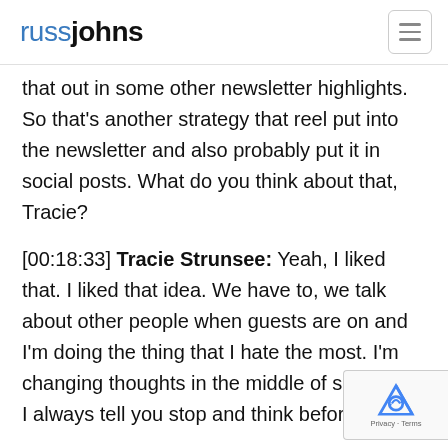russjohns
that out in some other newsletter highlights. So that's another strategy that reel put into the newsletter and also probably put it in social posts. What do you think about that, Tracie?
[00:18:33] Tracie Strunsee: Yeah, I liked that. I liked that idea. We have to, we talk about other people when guests are on and I'm doing the thing that I hate the most. I'm changing thoughts in the middle of speaking. I always tell you stop and think before